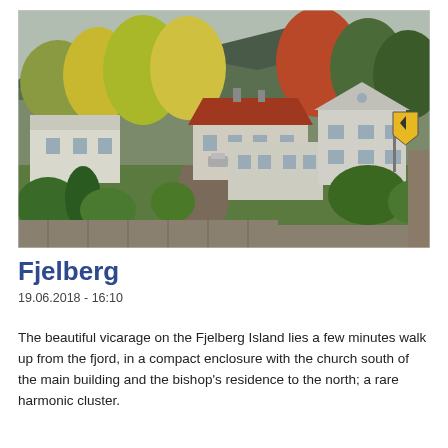[Figure (photo): Outdoor photograph of the Fjelberg vicarage complex: several white-painted traditional Norwegian buildings with a red-tiled roof central structure surrounded by autumn trees (yellow, green, orange-red foliage), green lawns, a small road, a yellow directional arrow road sign, and forested hills in the background.]
Fjelberg
19.06.2018 - 16:10
The beautiful vicarage on the Fjelberg Island lies a few minutes walk up from the fjord, in a compact enclosure with the church south of the main building and the bishop's residence to the north; a rare harmonic cluster.